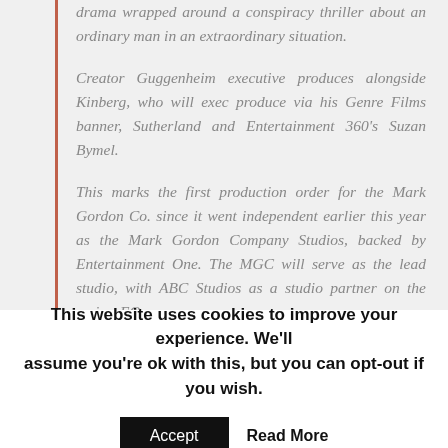drama wrapped around a conspiracy thriller about an ordinary man in an extraordinary situation.
Creator Guggenheim executive produces alongside Kinberg, who will exec produce via his Genre Films banner, Sutherland and Entertainment 360's Suzan Bymel.
This marks the first production order for the Mark Gordon Co. since it went independent earlier this year as the Mark Gordon Company Studios, backed by Entertainment One. The MGC will serve as the lead studio, with ABC Studios as a studio partner on the series. EOne
This website uses cookies to improve your experience. We'll assume you're ok with this, but you can opt-out if you wish.
Accept   Read More